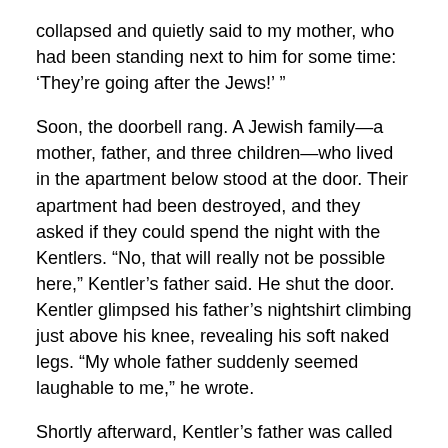collapsed and quietly said to my mother, who had been standing next to him for some time: ‘They’re going after the Jews!’ ”
Soon, the doorbell rang. A Jewish family—a mother, father, and three children—who lived in the apartment below stood at the door. Their apartment had been destroyed, and they asked if they could spend the night with the Kentlers. “No, that will really not be possible here,” Kentler’s father said. He shut the door. Kentler glimpsed his father’s nightshirt climbing just above his knee, revealing his soft naked legs. “My whole father suddenly seemed laughable to me,” he wrote.
Shortly afterward, Kentler’s father was called back to active duty. He rose to the rank of colonel, and moved his family to Berlin, where he worked at the High Command of